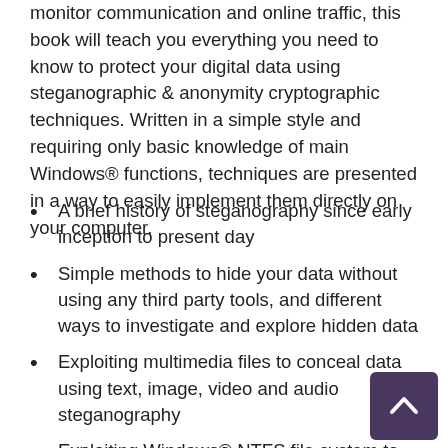monitor communication and online traffic, this book will teach you everything you need to know to protect your digital data using steganographic & anonymity cryptographic techniques. Written in a simple style and requiring only basic knowledge of main Windows® functions, techniques are presented in a way to easily implement them directly on your computer.
A brief history of steganography since early inception to present day
Simple methods to hide your data without using any third party tools, and different ways to investigate and explore hidden data
Exploiting multimedia files to conceal data using text, image, video and audio steganography
Exploiting Windows® NTFS file system to hide your secret data
A wide array of encryption techniques to protect your